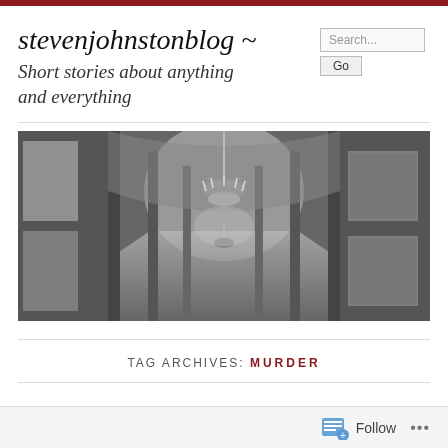stevenjohnstonblog ~
Short stories about anything and everything
[Figure (photo): Black and white panoramic photo of an ornate grand hall or gallery with arched ceilings, chandelier, tall windows on the left, and framed paintings on the right, showing a long perspective corridor.]
TAG ARCHIVES: MURDER
Follow